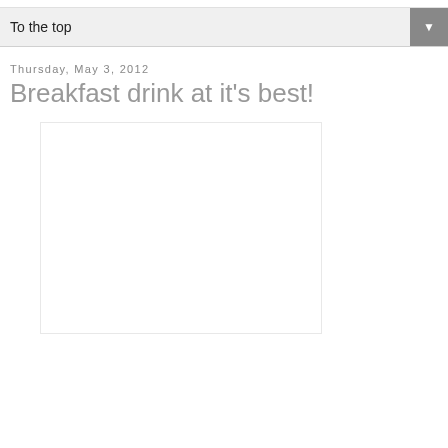To the top
Thursday, May 3, 2012
Breakfast drink at it's best!
[Figure (photo): White/blank image placeholder rectangle]